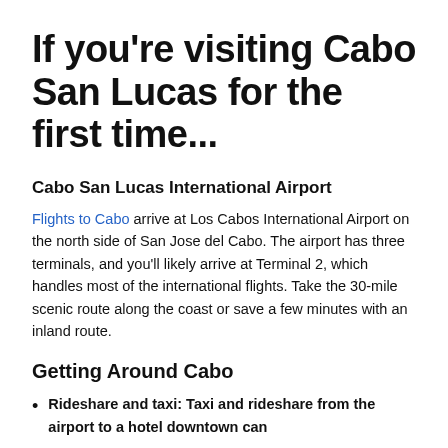If you're visiting Cabo San Lucas for the first time...
Cabo San Lucas International Airport
Flights to Cabo arrive at Los Cabos International Airport on the north side of San Jose del Cabo. The airport has three terminals, and you'll likely arrive at Terminal 2, which handles most of the international flights. Take the 30-mile scenic route along the coast or save a few minutes with an inland route.
Getting Around Cabo
Rideshare and taxi: Taxi and rideshare from the airport to a hotel downtown can